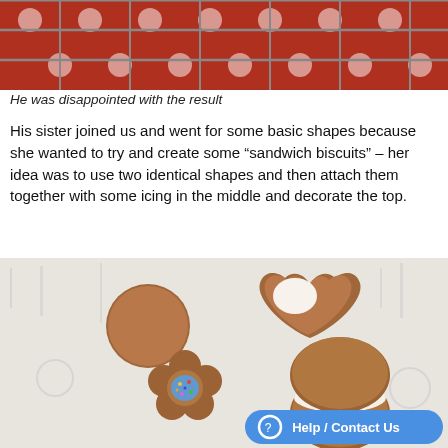[Figure (photo): Top portion of a red polka-dot tablecloth with a wire cooling rack on it, viewed from above]
He was disappointed with the result
His sister joined us and went for some basic shapes because she wanted to try and create some “sandwich biscuits” – her idea was to use two identical shapes and then attach them together with some icing in the middle and decorate the top.
[Figure (photo): Birds-eye view of decorated biscuits on a kitchen-themed placemat: a round plain biscuit, a heart-shaped biscuit with white icing, a flower-shaped biscuit with blue icing and sprinkles, a sandwich biscuit with white cream filling, and a star-shaped biscuit with sprinkles at the bottom]